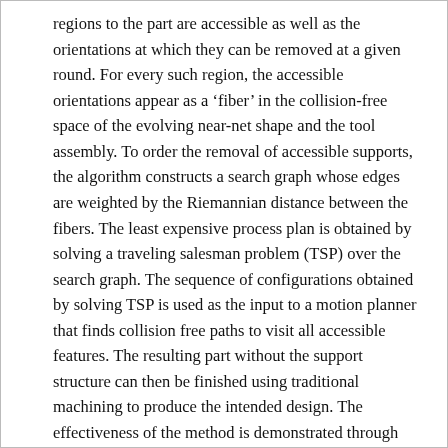regions to the part are accessible as well as the orientations at which they can be removed at a given round. For every such region, the accessible orientations appear as a ‘fiber’ in the collision-free space of the evolving near-net shape and the tool assembly. To order the removal of accessible supports, the algorithm constructs a search graph whose edges are weighted by the Riemannian distance between the fibers. The least expensive process plan is obtained by solving a traveling salesman problem (TSP) over the search graph. The sequence of configurations obtained by solving TSP is used as the input to a motion planner that finds collision free paths to visit all accessible features. The resulting part without the support structure can then be finished using traditional machining to produce the intended design. The effectiveness of the method is demonstrated through benchmark examples in 3D.